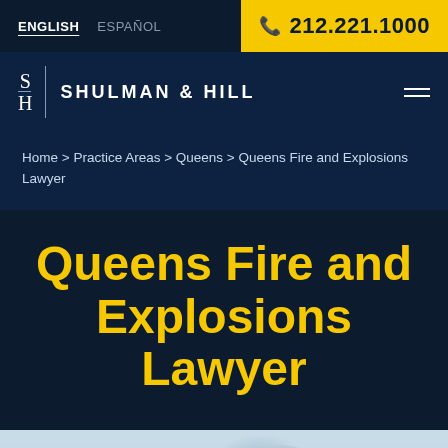ENGLISH  ESPAÑOL  212.221.1000
[Figure (logo): Shulman & Hill law firm logo with SH monogram and firm name]
Home > Practice Areas > Queens > Queens Fire and Explosions Lawyer
Queens Fire and Explosions Lawyer
[Figure (photo): Partial photo showing smoke or fire scene, light blue background with smoke blur]